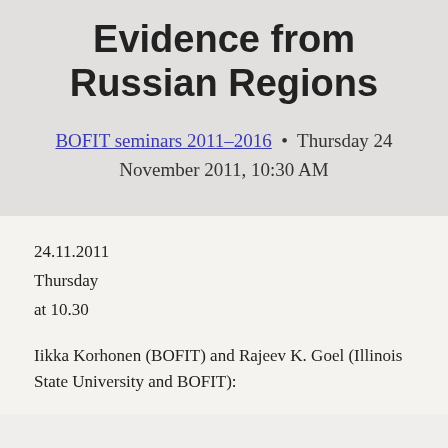Evidence from Russian Regions
BOFIT seminars 2011–2016 • Thursday 24 November 2011, 10:30 AM
24.11.2011
Thursday
at 10.30
Iikka Korhonen (BOFIT) and Rajeev K. Goel (Illinois State University and BOFIT):